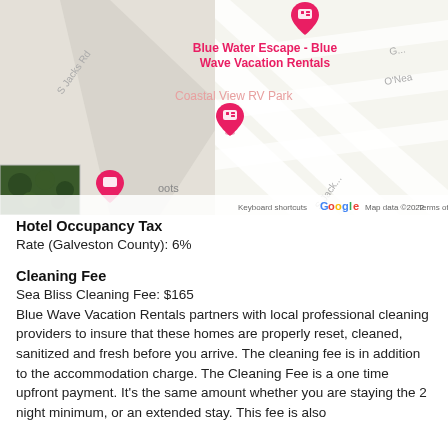[Figure (map): Google Maps screenshot showing Blue Water Escape - Blue Wave Vacation Rentals and Coastal View RV Park markers on a street map. S Jacks Rd and O'Neal street labels visible. Google logo, Keyboard shortcuts, Map data ©2022, Terms of Use shown at bottom. Zoom controls (+/-) on right side. Satellite thumbnail in bottom-left corner.]
Hotel Occupancy Tax
Rate (Galveston County): 6%
Cleaning Fee
Sea Bliss Cleaning Fee: $165
Blue Wave Vacation Rentals partners with local professional cleaning providers to insure that these homes are properly reset, cleaned, sanitized and fresh before you arrive. The cleaning fee is in addition to the accommodation charge. The Cleaning Fee is a one time upfront payment. It's the same amount whether you are staying the 2 night minimum, or an extended stay. This fee is also